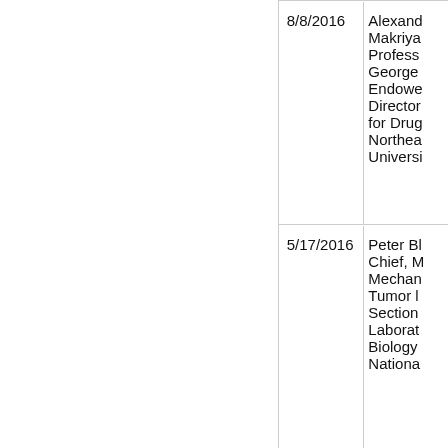|  | Date | Name/Title |
| --- | --- | --- |
|  | 8/8/2016 | Alexandra Makriyannis, Professor, George ... Endowed ... Director for Drug... Northeastern University |
|  | 5/17/2016 | Peter Bl... Chief, M... Mechanism... Tumor ... Section ... Laboratory Biology ... National... |